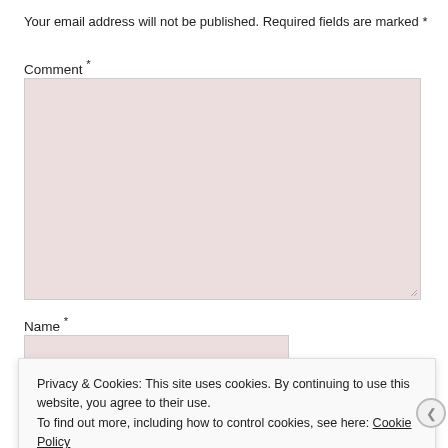Your email address will not be published. Required fields are marked *
Comment *
[Figure (other): Comment textarea input field with pinkish-rose background]
Name *
[Figure (other): Name text input field with pinkish-rose background]
Privacy & Cookies: This site uses cookies. By continuing to use this website, you agree to their use.
To find out more, including how to control cookies, see here: Cookie Policy
Close and accept